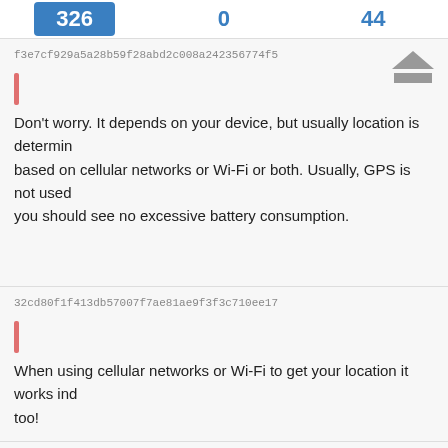326   0   44
f3e7cf929a5a28b59f28abd2c008a242356774f5
Don't worry. It depends on your device, but usually location is determined based on cellular networks or Wi-Fi or both. Usually, GPS is not used you should see no excessive battery consumption.
32cd80f1f413db57007f7ae81ae9f3f3c710ee17
When using cellular networks or Wi-Fi to get your location it works ind too!
c46824b28f25bdaf56d18ebee8c4335feb47c542
Tasks and notes: